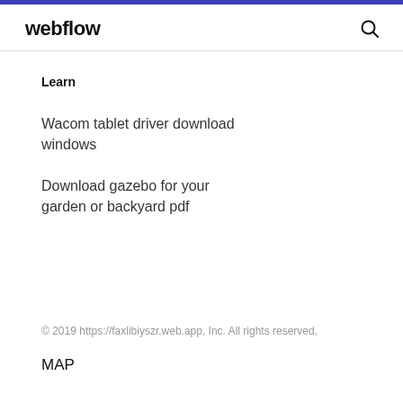webflow
Learn
Wacom tablet driver download windows
Download gazebo for your garden or backyard pdf
© 2019 https://faxlibiyszr.web.app, Inc. All rights reserved.
MAP